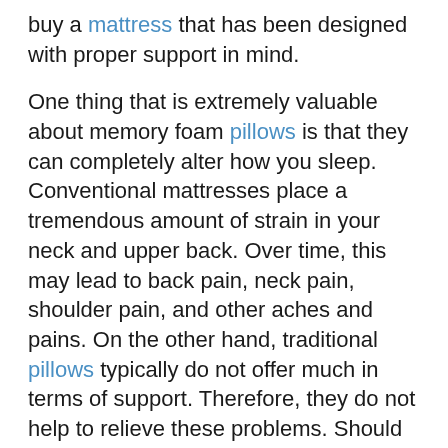buy a mattress that has been designed with proper support in mind.

One thing that is extremely valuable about memory foam pillows is that they can completely alter how you sleep. Conventional mattresses place a tremendous amount of strain in your neck and upper back. Over time, this may lead to back pain, neck pain, shoulder pain, and other aches and pains. On the other hand, traditional pillows typically do not offer much in terms of support. Therefore, they do not help to relieve these problems. Should you suffer from any one of these requirements, the very best memory foam pillow that you can purchase is one that is going to supply you with the assistance which you need.